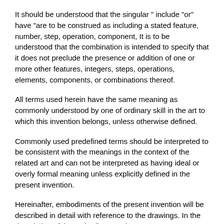It should be understood that the singular " include "or" have "are to be construed as including a stated feature, number, step, operation, component, It is to be understood that the combination is intended to specify that it does not preclude the presence or addition of one or more other features, integers, steps, operations, elements, components, or combinations thereof.
All terms used herein have the same meaning as commonly understood by one of ordinary skill in the art to which this invention belongs, unless otherwise defined.
Commonly used predefined terms should be interpreted to be consistent with the meanings in the context of the related art and can not be interpreted as having ideal or overly formal meaning unless explicitly defined in the present invention.
Hereinafter, embodiments of the present invention will be described in detail with reference to the drawings. In the description of the embodiments, the same components are denoted by the same reference numerals, and explanations of the same reference numerals will be